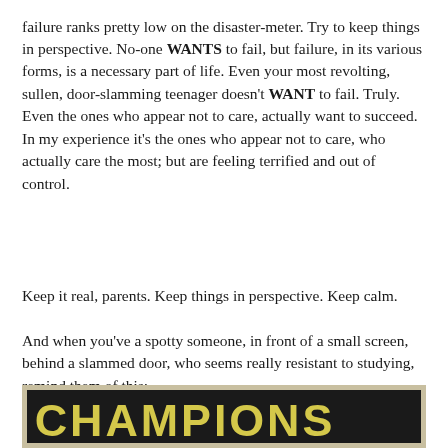failure ranks pretty low on the disaster-meter. Try to keep things in perspective. No-one WANTS to fail, but failure, in its various forms, is a necessary part of life. Even your most revolting, sullen, door-slamming teenager doesn't WANT to fail. Truly. Even the ones who appear not to care, actually want to succeed. In my experience it's the ones who appear not to care, who actually care the most; but are feeling terrified and out of control.
Keep it real, parents. Keep things in perspective. Keep calm.
And when you've a spotty someone, in front of a small screen, behind a slammed door, who seems really resistant to studying, remind them of this:
[Figure (photo): A chalkboard sign with a white/cream frame displaying the word 'CHAMPIONS' written in yellow chalk lettering on a dark background.]